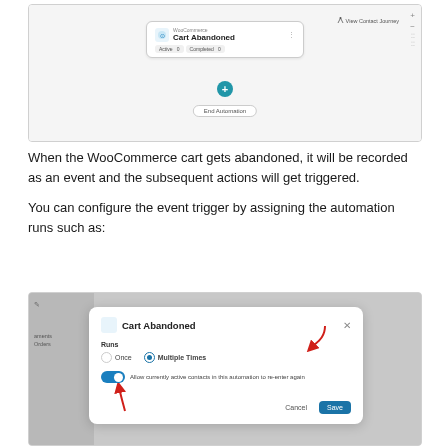[Figure (screenshot): WooCommerce automation editor showing a Cart Abandoned trigger node with Active and Completed stats, a plus button, and End Automation button. View Contact Journey link visible top right.]
When the WooCommerce cart gets abandoned, it will be recorded as an event and the subsequent actions will get triggered.
You can configure the event trigger by assigning the automation runs such as:
[Figure (screenshot): Cart Abandoned dialog showing Runs options: Once and Multiple Times (selected with red arrow), toggle enabled for Allow currently active contacts in this automation to re-enter again, Cancel and Save buttons.]